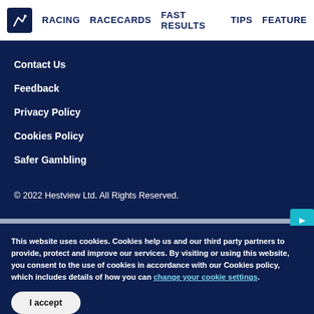RACING   RACECARDS   FAST RESULTS   TIPS   FEATURE
Contact Us
Feedback
Privacy Policy
Cookies Policy
Safer Gambling
© 2022 Hestview Ltd. All Rights Reserved.
This website uses cookies. Cookies help us and our third party partners to provide, protect and improve our services. By visiting or using this website, you consent to the use of cookies in accordance with our Cookies policy, which includes details of how you can change your cookie settings.